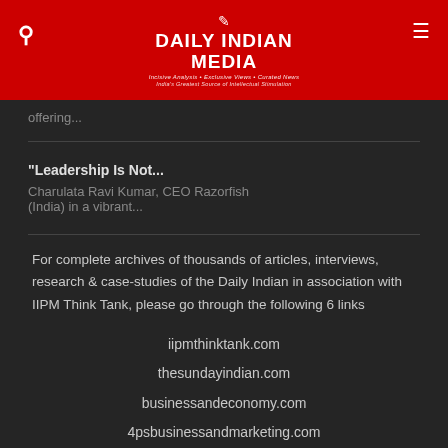DAILY INDIAN MEDIA — Incisive Analysis • Exclusive Views • Curated News — India's Greatest Source of Intellectual Stimulation
offering...
"Leadership Is Not...
Charulata Ravi Kumar, CEO Razorfish (India) in a vibrant...
For complete archives of thousands of articles, interviews, research & case-studies of the Daily Indian in association with IIPM Think Tank, please go through the following 6 links
iipmthinktank.com
thesundayindian.com
businessandeconomy.com
4psbusinessandmarketing.com
thehumanfactor.com